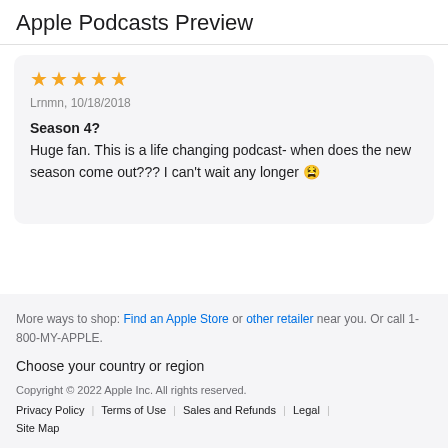Apple Podcasts Preview
★★★★★
Lrnmn, 10/18/2018
Season 4?
Huge fan. This is a life changing podcast- when does the new season come out??? I can't wait any longer 😫
More ways to shop: Find an Apple Store or other retailer near you. Or call 1-800-MY-APPLE.
Choose your country or region
Copyright © 2022 Apple Inc. All rights reserved.
Privacy Policy | Terms of Use | Sales and Refunds | Legal | Site Map